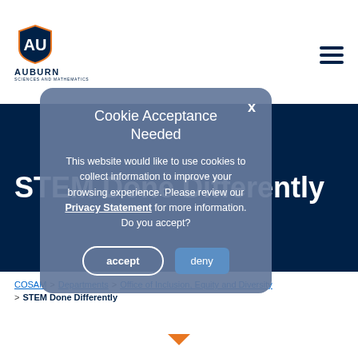[Figure (logo): Auburn University College of Sciences and Mathematics logo with shield emblem]
STEM Done Differently
[Figure (screenshot): Cookie Acceptance Needed modal dialog overlay on Auburn University COSAM website]
Cookie Acceptance Needed

This website would like to use cookies to collect information to improve your browsing experience. Please review our Privacy Statement for more information. Do you accept?
COSAM > Departments > Office of Inclusion, Equity and Diversity > STEM Done Differently